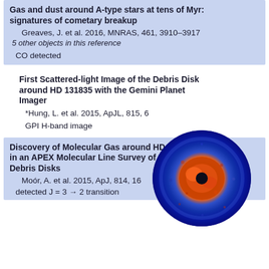Gas and dust around A-type stars at tens of Myr: signatures of cometary breakup
Greaves, J. et al. 2016, MNRAS, 461, 3910–3917
5 other objects in this reference
CO detected
First Scattered-light Image of the Debris Disk around HD 131835 with the Gemini Planet Imager
*Hung, L. et al. 2015, ApJL, 815, 6
GPI H-band image
[Figure (photo): False-color scattered-light image of the debris disk around HD 131835, showing blue and orange/red hues in a roughly circular disk shape with a dark central region (coronagraphic mask).]
Discovery of Molecular Gas around HD 131835 in an APEX Molecular Line Survey of Bright Debris Disks
Moór, A. et al. 2015, ApJ, 814, 16
detected J = 3 → 2 transition